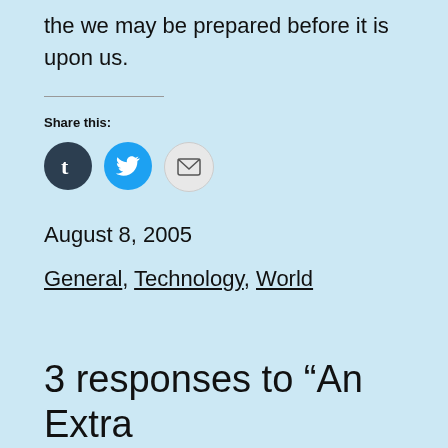the we may be prepared before it is upon us.
Share this:
[Figure (infographic): Three social sharing icon buttons: Tumblr (dark circle with 't'), Twitter (blue circle with bird), and Email (light grey circle with envelope icon)]
August 8, 2005
General, Technology, World
3 responses to “An Extra